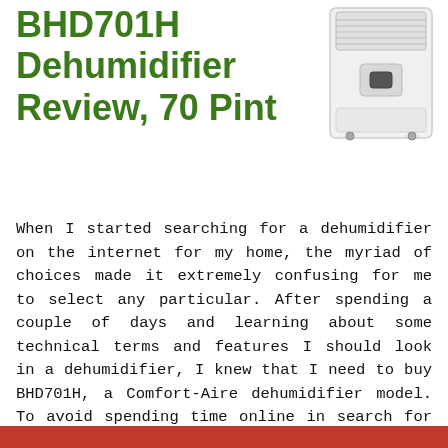BHD701H Dehumidifier Review, 70 Pint
[Figure (photo): White dehumidifier appliance with ventilation grilles at the top and a small control panel in the middle, shown from the front.]
When I started searching for a dehumidifier on the internet for my home, the myriad of choices made it extremely confusing for me to select any particular. After spending a couple of days and learning about some technical terms and features I should look in a dehumidifier, I knew that I need to buy BHD701H, a Comfort-Aire dehumidifier model. To avoid spending time online in search for the best dehumidifier, go through this Comfort Aire BHD701H Dehumidifier Review to find yourself ...